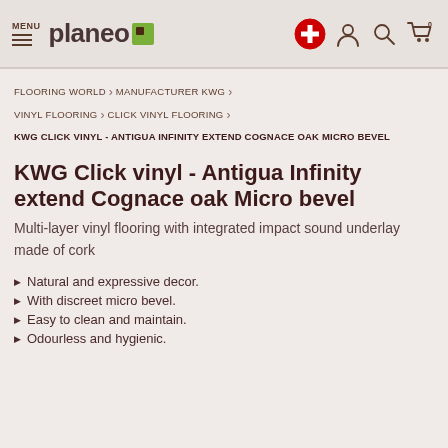MENU planeo
FLOORING WORLD › MANUFACTURER KWG › VINYL FLOORING › CLICK VINYL FLOORING › KWG CLICK VINYL - ANTIGUA INFINITY EXTEND COGNACE OAK MICRO BEVEL
KWG Click vinyl - Antigua Infinity extend Cognace oak Micro bevel
Multi-layer vinyl flooring with integrated impact sound underlay made of cork
Natural and expressive decor.
With discreet micro bevel.
Easy to clean and maintain.
Odourless and hygienic.